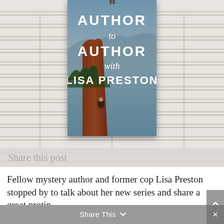[Figure (photo): Book cover for 'Author to Author with Lisa Preston' showing a dramatic landscape with red rock cliffs, a calm lake/ocean, and a small figure sitting on the cliff edge. The cover has white text on a scenic background with blue sky and mountains.]
Share this post
Fellow mystery author and former cop Lisa Preston stopped by to talk about her new series and share a great protip.
1. Carmen Amato: Lisa, thanks so much for stopping by. We met at the Killer
Share This